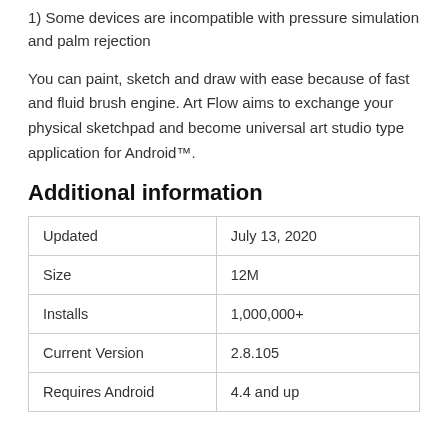1) Some devices are incompatible with pressure simulation and palm rejection
You can paint, sketch and draw with ease because of fast and fluid brush engine. Art Flow aims to exchange your physical sketchpad and become universal art studio type application for Android™.
Additional information
| Updated | July 13, 2020 |
| Size | 12M |
| Installs | 1,000,000+ |
| Current Version | 2.8.105 |
| Requires Android | 4.4 and up |